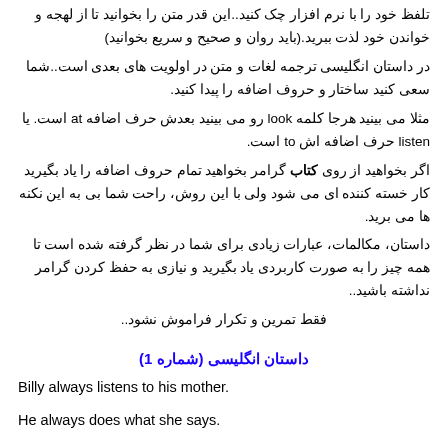تلفظ خود را با نرم افزار چک کنید..این قدر متن را بخوانید تا از لهجه و خواندن خود لذت ببرید.(باید روان و صحیح و سریع بخوانید)
در داستان انگلیسی ترجمه لغات و متن در اولویت های بعدی است..شما سعی کنید ساختار و حروف اضافه را پیدا کنید.
مثلا می بینید هرجا کلمه look رو می بینید بعدش حرف اضافه at است. یا listen حرف اضافه اش to است.
اگر بخواهید از روی کتاب گرامر بخواهید تمام حروف اضافه را یاد بگیرید کار خسته کننده ای می شود ولی با این روش، راحت شما بی به این نکنه ها می برید.
داستان، مکالمات، عبارات زیادی برای شما در نظر گرفته شده است تا همه چیز را به صورت کاربردی یاد بگیرید و نیازی به حفظ کردن گرامر نداشته باشید..
فقط تمرین و تکرار فراموش نشود..
داستان انگلیسی (شماره 1)
Billy always listens to his mother.
He always does what she says.
If his mother says, "Brush your teeth," Billy brushes his teeth.